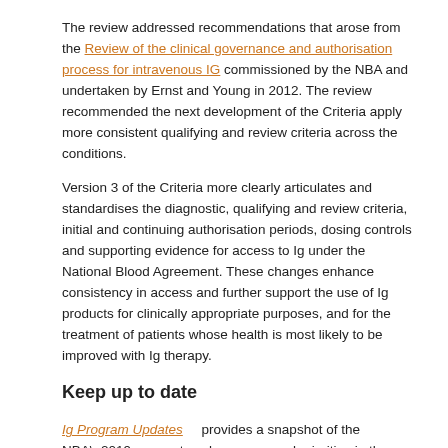The review addressed recommendations that arose from the Review of the clinical governance and authorisation process for intravenous IG commissioned by the NBA and undertaken by Ernst and Young in 2012. The review recommended the next development of the Criteria apply more consistent qualifying and review criteria across the conditions.
Version 3 of the Criteria more clearly articulates and standardises the diagnostic, qualifying and review criteria, initial and continuing authorisation periods, dosing controls and supporting evidence for access to Ig under the National Blood Agreement. These changes enhance consistency in access and further support the use of Ig products for clinically appropriate purposes, and for the treatment of patients whose health is most likely to be improved with Ig therapy.
Keep up to date
Ig Program Updates     provides a snapshot of the NBA’s current work program and priorities in the immunoglobulin space.
To keep up to date with the latest Immunoglobulin Governance Program activities and accomplishments, join the informal subscription-based group: the National Immunoglobulin Interest Group (NIIG). Members of the NIIG receive the NBA’s quarterly Ig Program Updates. They may also be invited to informally contribute to immunoglobulin-related discussions or projects.